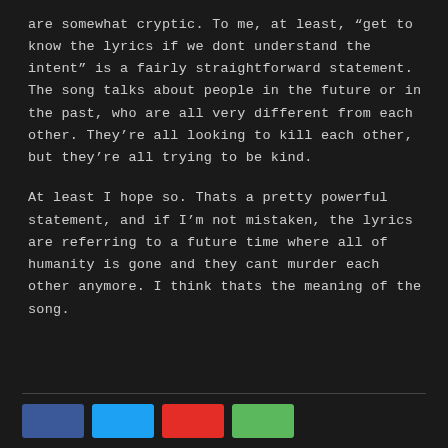are somewhat cryptic. To me, at least, "get to know the lyrics if we dont understand the intent" is a fairly straightforward statement. The song talks about people in the future or in the past, who are all very different from each other. They're all looking to kill each other, but they're all trying to be kind.
At least I hope so. Thats a pretty powerful statement, and if I'm not mistaken, the lyrics are referring to a future time where all of humanity is gone and they cant murder each other anymore. I think thats the meaning of the song.
[Figure (other): Social media share buttons: Facebook (blue), Twitter (cyan), YouTube (red), Google+ (green)]